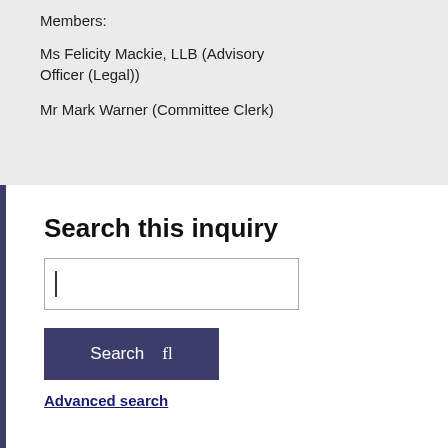Members:
Ms Felicity Mackie, LLB (Advisory Officer (Legal))
Mr Mark Warner (Committee Clerk)
Search this inquiry
Advanced search